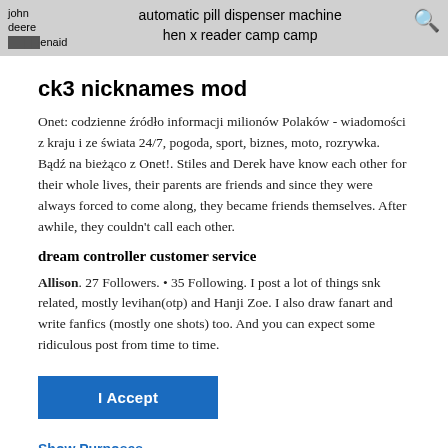john deere [redacted]enaid   automatic pill dispenser machine hen x reader camp camp   [search icon]
ck3 nicknames mod
Onet: codzienne źródło informacji milionów Polaków - wiadomości z kraju i ze świata 24/7, pogoda, sport, biznes, moto, rozrywka. Bądź na bieżąco z Onet!. Stiles and Derek have know each other for their whole lives, their parents are friends and since they were always forced to come along, they became friends themselves. After awhile, they couldn't call each other.
dream controller customer service
Allison. 27 Followers. • 35 Following. I post a lot of things snk related, mostly levihan(otp) and Hanji Zoe. I also draw fanart and write fanfics (mostly one shots) too. And you can expect some ridiculous post from time to time.
I Accept
Show Purposes